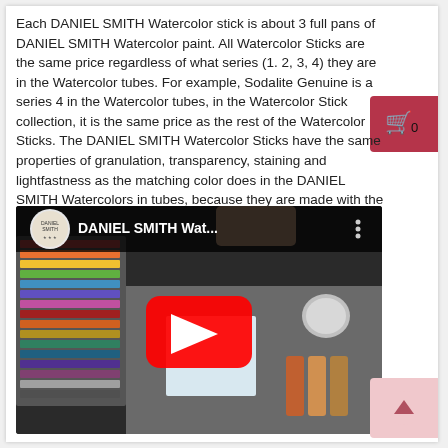Each DANIEL SMITH Watercolor stick is about 3 full pans of DANIEL SMITH Watercolor paint. All Watercolor Sticks are the same price regardless of what series (1. 2, 3, 4) they are in the Watercolor tubes. For example, Sodalite Genuine is a series 4 in the Watercolor tubes, in the Watercolor Stick collection, it is the same price as the rest of the Watercolor Sticks. The DANIEL SMITH Watercolor Sticks have the same properties of granulation, transparency, staining and lightfastness as the matching color does in the DANIEL SMITH Watercolors in tubes, because they are made with the same pigment.
[Figure (screenshot): YouTube video thumbnail showing DANIEL SMITH Watercolor products on a table, with the YouTube play button (red circle with white triangle) and title 'DANIEL SMITH Wat...' with the Daniel Smith logo circle on the left.]